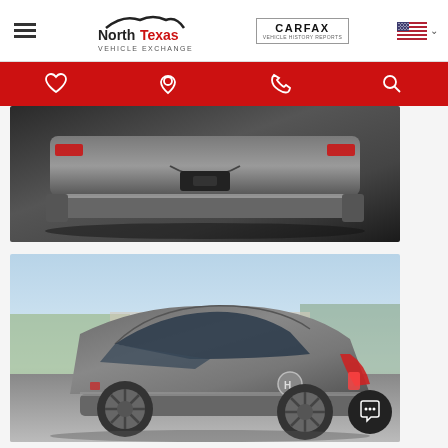[Figure (logo): North Texas Vehicle Exchange dealer logo with hamburger menu, CARFAX badge, and US flag language selector]
[Figure (other): Red navigation bar with heart/wishlist, location pin, phone, and search icons in white]
[Figure (photo): Close-up photo of the rear bumper/undercarriage of a gray Hyundai Ioniq on dark background]
[Figure (photo): Three-quarter rear view of a gray Hyundai Ioniq parked outdoors in a parking lot on a sunny day. A circular chat button appears in the bottom-right corner.]